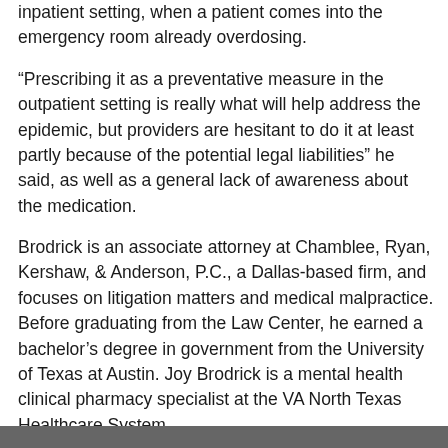inpatient setting, when a patient comes into the emergency room already overdosing.
“Prescribing it as a preventative measure in the outpatient setting is really what will help address the epidemic, but providers are hesitant to do it at least partly because of the potential legal liabilities” he said, as well as a general lack of awareness about the medication.
Brodrick is an associate attorney at Chamblee, Ryan, Kershaw, & Anderson, P.C., a Dallas-based firm, and focuses on litigation matters and medical malpractice. Before graduating from the Law Center, he earned a bachelor’s degree in government from the University of Texas at Austin. Joy Brodrick is a mental health clinical pharmacy specialist at the VA North Texas Healthcare System.